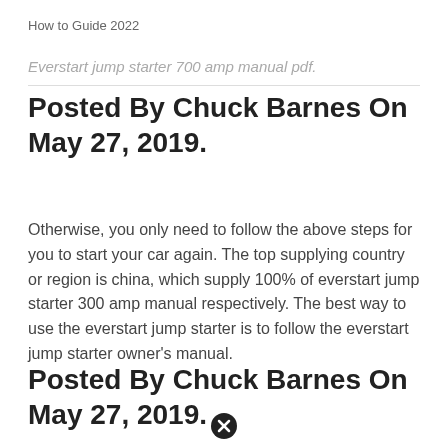How to Guide 2022
Everstart jump starter 700 amp manual pdf.
Posted By Chuck Barnes On May 27, 2019.
Otherwise, you only need to follow the above steps for you to start your car again. The top supplying country or region is china, which supply 100% of everstart jump starter 300 amp manual respectively. The best way to use the everstart jump starter is to follow the everstart jump starter owner's manual.
Posted By Chuck Barnes On May 27, 2019.